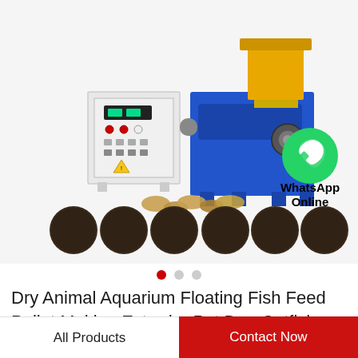[Figure (photo): Product photo of a dry animal aquarium floating fish feed pellet making extruder machine (blue and yellow industrial machine with control panel), shown alongside sample fish feed pellets in various sizes and shapes. A WhatsApp Online badge appears in the bottom right corner of the image.]
WhatsApp Online
Dry Animal Aquarium Floating Fish Feed Pellet Making Extruder Pet Dog Catfish Food...
All Products
Contact Now